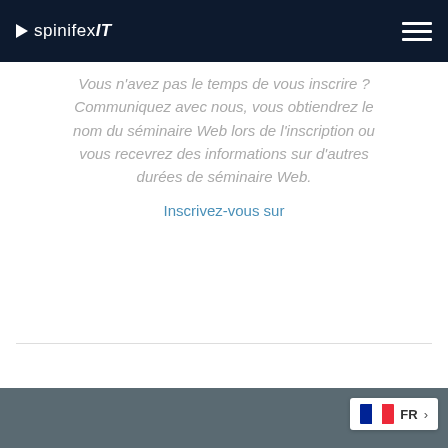spinifexIT
Vous n'avez pas le temps de vous inscrire ? Communiquez avec nous, vous obtiendrez le nom du séminaire Web lors de l'inscription ou vous recevrez des informations sur d'autres durées de séminaire Web.
Inscrivez-vous sur